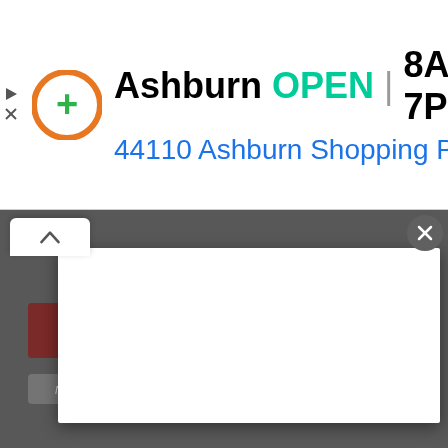[Figure (screenshot): Screenshot of a Google Maps/local search ad banner showing a business listing for 'Ashburn' marked as OPEN with hours 8AM–7PM and address '44110 Ashburn Shopping Pl...' with a navigation icon, overlaid on a webpage with a modal popup containing a white card, a collapse chevron tab, a close button, a Subscribe button (dark red), and a disclaimer note about information not being shared.]